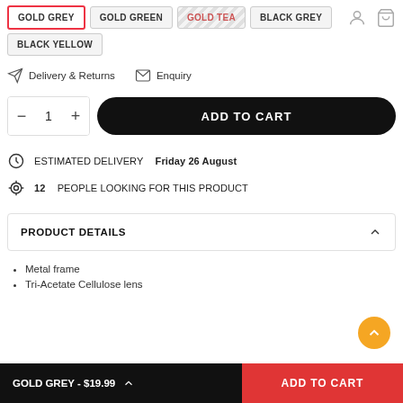GOLD GREY (active/selected)
GOLD GREEN
GOLD TEA (sold out)
BLACK GREY
BLACK YELLOW
Delivery & Returns  Enquiry
1 — ADD TO CART
ESTIMATED DELIVERY Friday 26 August
12 PEOPLE LOOKING FOR THIS PRODUCT
PRODUCT DETAILS
Metal frame
Tri-Acetate Cellulose lens
GOLD GREY - $19.99  ADD TO CART